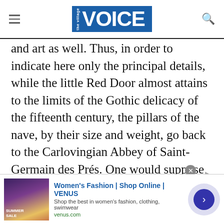the village VOICE
and art as well. Thus, in order to indicate here only the principal details, while the little Red Door almost attains to the limits of the Gothic delicacy of the fifteenth century, the pillars of the nave, by their size and weight, go back to the Carlovingian Abbey of Saint-Germain des Prés. One would suppose that six centuries separated these pillars from that door. There is no one, not even the hermetics, who does not find in the symbols of the grand portal a satisfactory compendium of their science, of which
[Figure (screenshot): Advertisement banner for Women's Fashion | Shop Online | VENUS at venus.com with a model image showing Summer Sale]